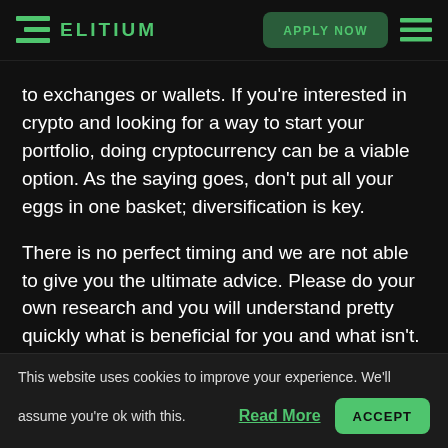ELITIUM — APPLY NOW
to exchanges or wallets. If you're interested in crypto and looking for a way to start your portfolio, doing cryptocurrency can be a viable option. As the saying goes, don't put all your eggs in one basket; diversification is key.
There is no perfect timing and we are not able to give you the ultimate advice. Please do your own research and you will understand pretty quickly what is beneficial for you and what isn't. If you are
This website uses cookies to improve your experience. We'll assume you're ok with this. Read More ACCEPT